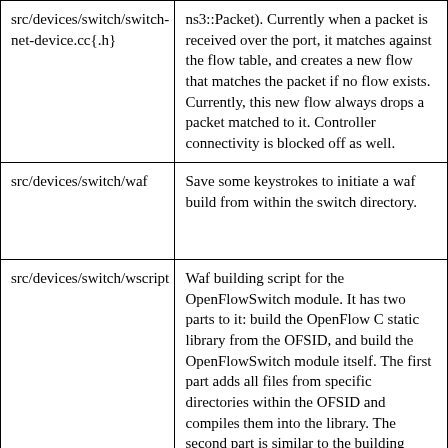| File/Directory | Description |
| --- | --- |
| src/devices/switch/switch-net-device.cc{.h} | ns3::Packet). Currently when a packet is received over the port, it matches against the flow table, and creates a new flow that matches the packet if no flow exists. Currently, this new flow always drops a packet matched to it. Controller connectivity is blocked off as well. |
| src/devices/switch/waf | Save some keystrokes to initiate a waf build from within the switch directory. |
| src/devices/switch/wscript | Waf building script for the OpenFlowSwitch module. It has two parts to it: build the OpenFlow C static library from the OFSID, and build the OpenFlowSwitch module itself. The first part adds all files from specific directories within the OFSID and compiles them into the library. The second part is similar to the building process of other modules/devices in ns-3, with create_ns3_module and ns3header for the .cc and .h files within the |